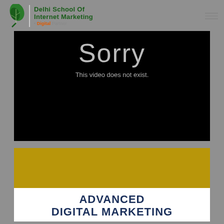[Figure (logo): Delhi School of Internet Marketing logo with green leaf and text]
[Figure (screenshot): Video player showing error: 'Sorry, This video does not exist.']
[Figure (illustration): Promotional card with gold banner header and 'ADVANCED DIGITAL MARKETING' text in dark navy]